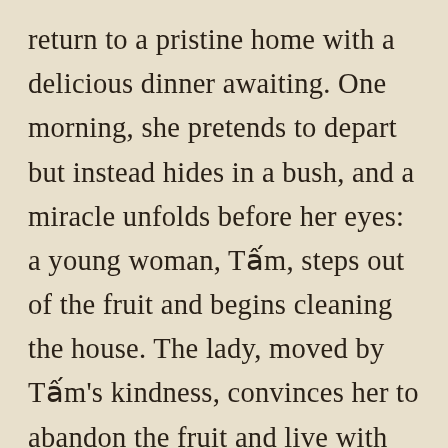return to a pristine home with a delicious dinner awaiting. One morning, she pretends to depart but instead hides in a bush, and a miracle unfolds before her eyes: a young woman, Tấm, steps out of the fruit and begins cleaning the house. The lady, moved by Tấm's kindness, convinces her to abandon the fruit and live with her as the daughter she has long wished for but never had.